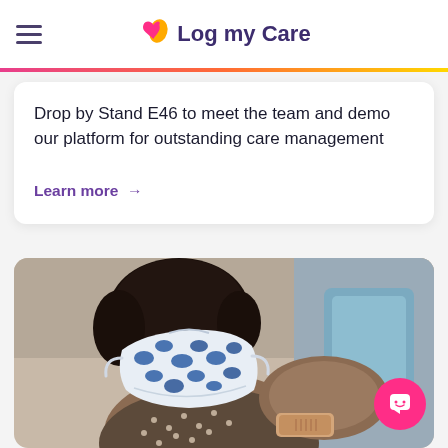Log my Care
Drop by Stand E46 to meet the team and demo our platform for outstanding care management
Learn more →
[Figure (photo): Person wearing a blue whale-patterned face mask and a sleeveless polka dot shirt, showing their upper arm with a bandage/plaster after a vaccination or medical procedure.]